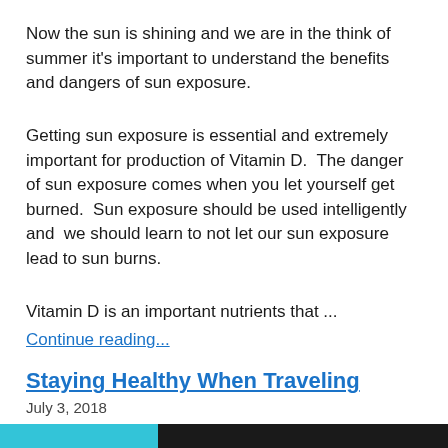Now the sun is shining and we are in the think of summer it's important to understand the benefits and dangers of sun exposure.
Getting sun exposure is essential and extremely important for production of Vitamin D.  The danger of sun exposure comes when you let yourself get burned.  Sun exposure should be used intelligently and  we should learn to not let our sun exposure lead to sun burns.
Vitamin D is an important nutrients that ...
Continue reading...
Staying Healthy When Traveling
July 3, 2018
[Figure (photo): Partial image of a person traveling, showing teal and dark background colors at the bottom of the page.]